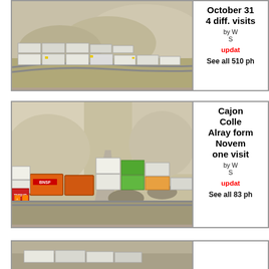[Figure (photo): Aerial/elevated view of a long freight train with white intermodal containers curving through desert terrain with rocky hills]
October 31
4 diff. visits
by W
S
updated
See all 510 ph
[Figure (photo): Ground-level view of BNSF freight train with stacked intermodal containers (including TMBVR/red containers) passing through Cajon Pass rock cut with road alongside]
Cajon
Colle
Alray form
Novem
one visit
by W
S
updated
See all 83 ph
[Figure (photo): Partial view of another train photo at bottom of page]